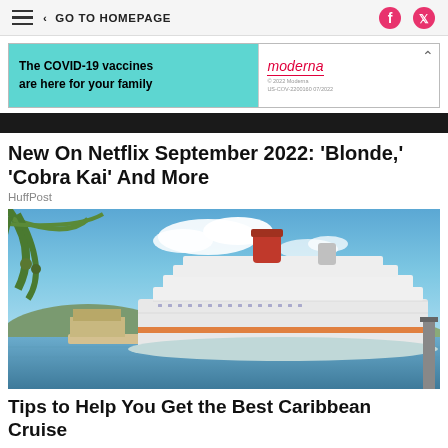< GO TO HOMEPAGE
[Figure (photo): Moderna COVID-19 vaccine advertisement banner: 'The COVID-19 vaccines are here for your family' with Moderna logo]
[Figure (photo): A large Carnival cruise ship docked in a Caribbean port with blue sky, white clouds, palm fronds in foreground, and turquoise water]
New On Netflix September 2022: 'Blonde,' 'Cobra Kai' And More
HuffPost
Tips to Help You Get the Best Caribbean Cruise